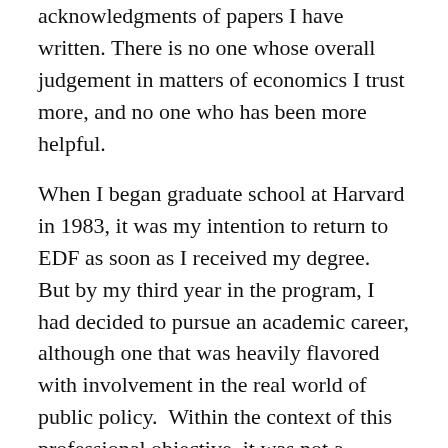acknowledgments of papers I have written. There is no one whose overall judgement in matters of economics I trust more, and no one who has been more helpful.
When I began graduate school at Harvard in 1983, it was my intention to return to EDF as soon as I received my degree.  But by my third year in the program, I had decided to pursue an academic career, although one that was heavily flavored with involvement in the real world of public policy.  Within the context of this professional objective, it was not a difficult decision to accept the offer I received in February, 1988, to become an Assistant Professor at the Kennedy School.  Although